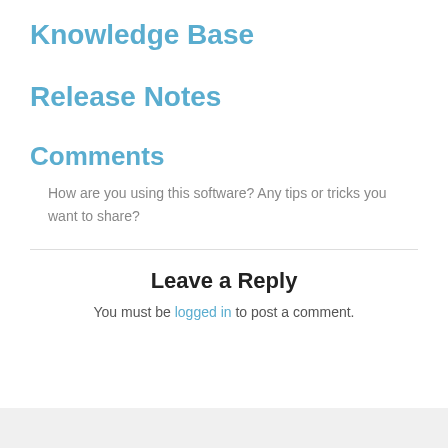Knowledge Base
Release Notes
Comments
How are you using this software? Any tips or tricks you want to share?
Leave a Reply
You must be logged in to post a comment.